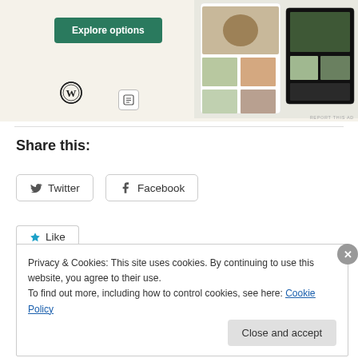[Figure (screenshot): Advertisement banner with green 'Explore options' button, WordPress logo, small icon, and food/recipe app screenshots on the right side on a beige background. 'REPORT THIS AD' text in bottom right.]
Share this:
[Figure (screenshot): Twitter and Facebook social share buttons with icons, followed by a Like tab and a cookie consent popup reading: 'Privacy & Cookies: This site uses cookies. By continuing to use this website, you agree to their use. To find out more, including how to control cookies, see here: Cookie Policy' with a 'Close and accept' button.]